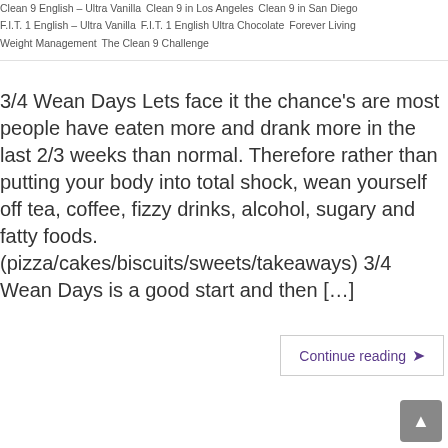Clean 9 English – Ultra Vanilla   Clean 9 in Los Angeles   Clean 9 in San Diego   F.I.T. 1 English – Ultra Vanilla   F.I.T. 1 English Ultra Chocolate   Forever Living Weight Management   The Clean 9 Challenge
3/4 Wean Days Lets face it the chance's are most people have eaten more and drank more in the last 2/3 weeks than normal. Therefore rather than putting your body into total shock, wean yourself off tea, coffee, fizzy drinks, alcohol, sugary and fatty foods. (pizza/cakes/biscuits/sweets/takeaways) 3/4 Wean Days is a good start and then […]
Continue reading ❯